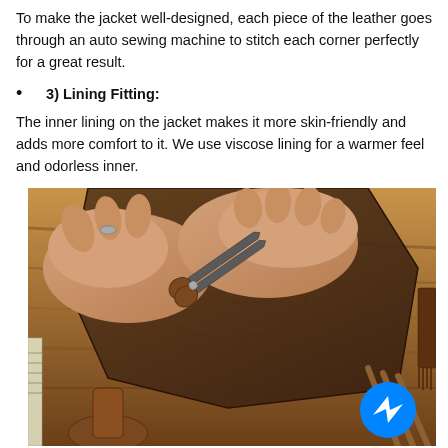To make the jacket well-designed, each piece of the leather goes through an auto sewing machine to stitch each corner perfectly for a great result.
3) Lining Fitting:
The inner lining on the jacket makes it more skin-friendly and adds more comfort to it. We use viscose lining for a warmer feel and odorless inner.
[Figure (photo): Hands cutting leather with scissors on a wooden workbench surrounded by leather-working tools including awls, a mallet, a ruler, and a comb. A Messenger chat icon is overlaid in the bottom right corner.]